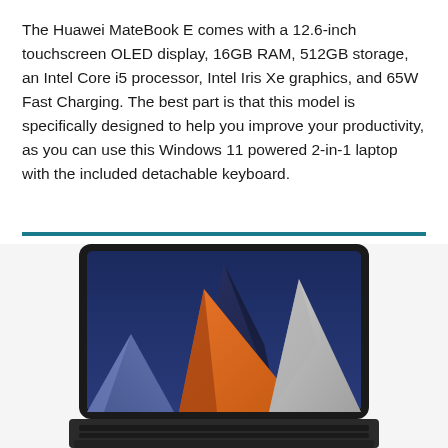The Huawei MateBook E comes with a 12.6-inch touchscreen OLED display, 16GB RAM, 512GB storage, an Intel Core i5 processor, Intel Iris Xe graphics, and 65W Fast Charging. The best part is that this model is specifically designed to help you improve your productivity, as you can use this Windows 11 powered 2-in-1 laptop with the included detachable keyboard.
[Figure (photo): Huawei MateBook E 2-in-1 laptop with detachable keyboard, showing a colorful geometric wallpaper with blue, orange, and grey pyramid shapes on the OLED display.]